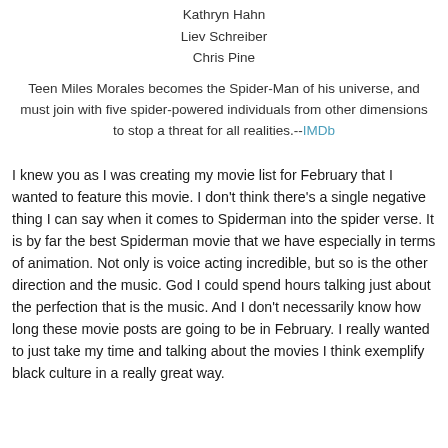Kathryn Hahn
Liev Schreiber
Chris Pine
Teen Miles Morales becomes the Spider-Man of his universe, and must join with five spider-powered individuals from other dimensions to stop a threat for all realities.--IMDb
I knew you as I was creating my movie list for February that I wanted to feature this movie. I don't think there's a single negative thing I can say when it comes to Spiderman into the spider verse. It is by far the best Spiderman movie that we have especially in terms of animation. Not only is voice acting incredible, but so is the other direction and the music. God I could spend hours talking just about the perfection that is the music. And I don't necessarily know how long these movie posts are going to be in February. I really wanted to just take my time and talking about the movies I think exemplify black culture in a really great way.